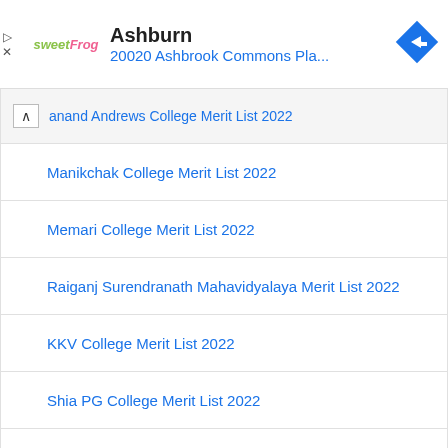[Figure (screenshot): Top advertisement banner with sweetFrog logo, 'Ashburn' heading, '20020 Ashbrook Commons Pla...' URL in blue, and blue diamond arrow navigation icon]
anand Andrews College Merit List 2022
Manikchak College Merit List 2022
Memari College Merit List 2022
Raiganj Surendranath Mahavidyalaya Merit List 2022
KKV College Merit List 2022
Shia PG College Merit List 2022
Vartak College Merit List 2022
K.G.K. PG College Merit List 2022
Dayalbagh Educational Institute Merit List 2022
[Figure (screenshot): Bottom advertisement banner with PetSmart logo, 'Shop Hill's Puppy Food Today' heading, 'Petsmart.com' URL in blue, and blue diamond arrow navigation icon]